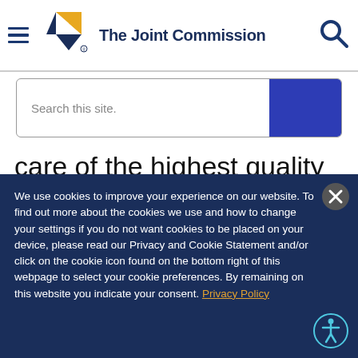[Figure (logo): The Joint Commission logo with hamburger menu icon and search icon]
[Figure (screenshot): Search bar with placeholder text 'Search this site.' and blue search button]
care of the highest quality and value.
The Joint Commission accredited...
We use cookies to improve your experience on our website. To find out more about the cookies we use and how to change your settings if you do not want cookies to be placed on your device, please read our Privacy and Cookie Statement and/or click on the cookie icon found on the bottom right of this webpage to select your cookie preferences. By remaining on this website you indicate your consent. Privacy Policy